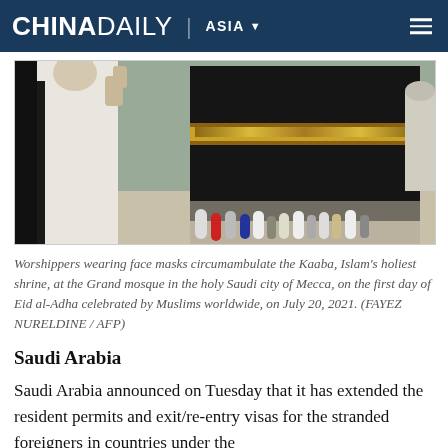CHINA DAILY | ASIA
[Figure (photo): Worshippers wearing white robes and face masks circumambulate the Kaaba (the large black cube structure with gold band) at the Grand Mosque in Mecca, with crowds visible in the background.]
Worshippers wearing face masks circumambulate the Kaaba, Islam's holiest shrine, at the Grand mosque in the holy Saudi city of Mecca, on the first day of Eid al-Adha celebrated by Muslims worldwide, on July 20, 2021. (FAYEZ NURELDINE / AFP)
Saudi Arabia
Saudi Arabia announced on Tuesday that it has extended the resident permits and exit/re-entry visas for the stranded foreigners in countries under the